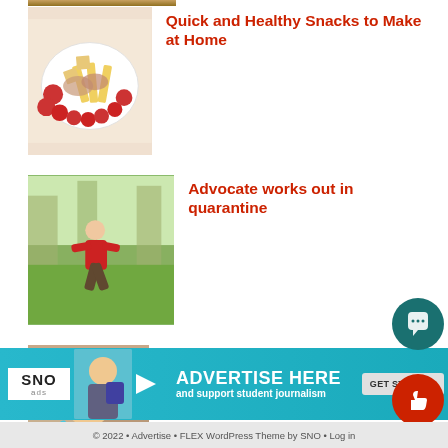[Figure (photo): Cropped top portion of a food/snacks photo]
[Figure (photo): Heart-shaped plate with strawberries, cheese, crackers, and snacks]
Quick and Healthy Snacks to Make at Home
[Figure (photo): Child in red hoodie doing a lunge exercise outdoors on grass]
Advocate works out in quarantine
[Figure (photo): Young woman with glasses smiling, stirring a bowl]
Advocate staff keeps busy during quarantine
[Figure (infographic): SNO ads banner: ADVERTISE HERE and support student journalism, with GET STARTED button]
© 2022 • Advertise • FLEX WordPress Theme by SNO • Log in